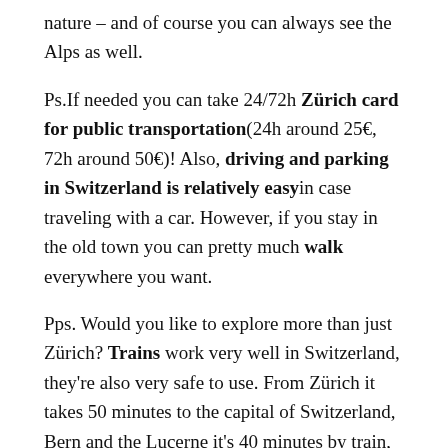nature – and of course you can always see the Alps as well.
Ps.If needed you can take 24/72h Zürich card for public transportation(24h around 25€, 72h around 50€)! Also, driving and parking in Switzerland is relatively easy in case traveling with a car. However, if you stay in the old town you can pretty much walk everywhere you want.
Pps. Would you like to explore more than just Zürich? Trains work very well in Switzerland, they're also very safe to use. From Zürich it takes 50 minutes to the capital of Switzerland, Bern and the Lucerne it's 40 minutes by train, just to mention a few places I'd love to explore. One way train tickets